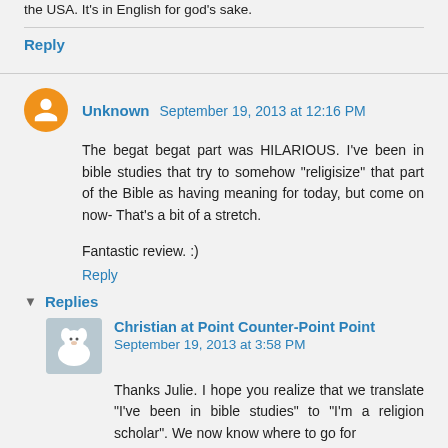the USA. It's in English for god's sake.
Reply
Unknown  September 19, 2013 at 12:16 PM
The begat begat part was HILARIOUS. I've been in bible studies that try to somehow "religisize" that part of the Bible as having meaning for today, but come on now- That's a bit of a stretch.
Fantastic review. :)
Reply
Replies
Christian at Point Counter-Point Point  September 19, 2013 at 3:58 PM
Thanks Julie. I hope you realize that we translate "I've been in bible studies" to "I'm a religion scholar". We now know where to go for